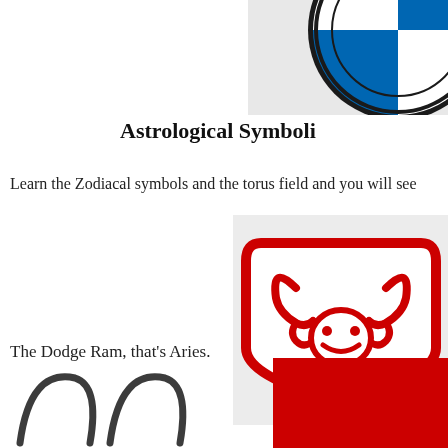[Figure (logo): BMW circular logo showing blue and white segments with black ring, partially cropped at top-right]
Astrological Symboli
Learn the Zodiacal symbols and the torus field and you will see
[Figure (logo): Dodge Ram logo: red shield/badge shape with ram head emblem in red and white, with DODGE text in bold black below, on light grey background]
The Dodge Ram, that’s Aries.
[Figure (illustration): Black ink brush strokes resembling Aries horns symbol, partially visible at bottom-left]
[Figure (logo): Partially visible red logo at bottom-right, cropped]